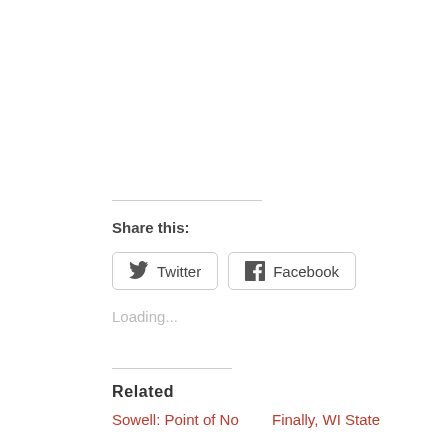Share this:
Twitter
Facebook
Loading...
Related
Sowell: Point of No
Finally, WI State